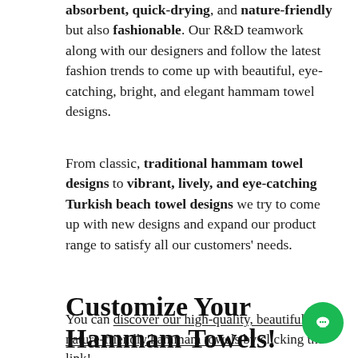absorbent, quick-drying, and nature-friendly but also fashionable. Our R&D teamwork along with our designers and follow the latest fashion trends to come up with beautiful, eye-catching, bright, and elegant hammam towel designs.
From classic, traditional hammam towel designs to vibrant, lively, and eye-catching Turkish beach towel designs we try to come up with new designs and expand our product range to satisfy all our customers' needs.
You can discover our high-quality, beautiful, and nature-friendly hammam towels by clicking the link!
Customize Your Hammam Towels!